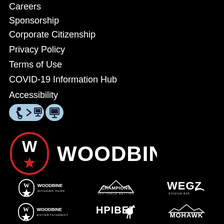Careers
Sponsorship
Corporate Citizenship
Privacy Policy
Terms of Use
COVID-19 Information Hub
Accessibility
[Figure (logo): Woodbine main logo with W star emblem and WOODBINE wordmark in white on black]
[Figure (logo): Bottom row logos: Woodbine Mohawk Park, Champions Off Track Betting, WEGZ Stadium Bar]
[Figure (logo): Bottom row logos: Woodbine Entertainment, HPIBet, Mohawk]